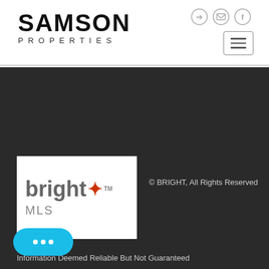[Figure (logo): Samson Properties logo with SAMSON in large bold text and PROPERTIES in small spaced letters below]
[Figure (logo): Bright MLS logo — word 'bright' in gray with orange star asterisk, TM superscript, and 'MLS' below in gray]
© BRIGHT, All Rights Reserved
Information Deemed Reliable But Not Guaranteed
The data relating to real estate for sale on this website appears in part through the BRIGHT Internet Data Exchange program, a voluntary cooperative exchange of property listing data between estate brokerage firms in which participates, and is p BRIGHT through a licensing agreement.